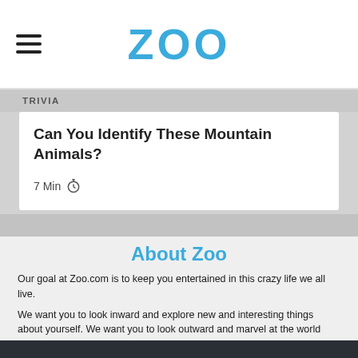ZOO
TRIVIA
Can You Identify These Mountain Animals?
7 Min
About Zoo
Our goal at Zoo.com is to keep you entertained in this crazy life we all live.
We want you to look inward and explore new and interesting things about yourself. We want you to look outward and marvel at the world around you. We want you to laugh at past memories that helped shape the person you've become. We want to dream with you about all your future holds. Our hope is our quizzes and articles inspire you to do just that.
Life is a zoo! Embrace it on Zoo.com.